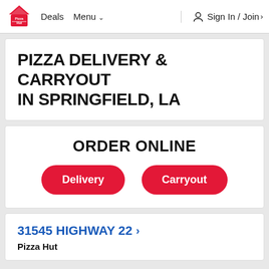Pizza Hut  Deals  Menu  Sign In / Join
PIZZA DELIVERY & CARRYOUT IN SPRINGFIELD, LA
ORDER ONLINE
Delivery  Carryout
31545 HIGHWAY 22 >
Pizza Hut